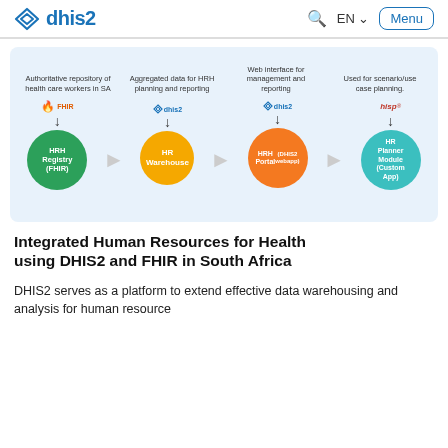dhis2 | EN | Menu
[Figure (flowchart): Flowchart showing four systems: HRH Registry (FHIR) fed by FHIR, HR Warehouse fed by dhis2, HRH Portal (DHIS2 webapp) fed by dhis2, and HR Planner Module (Custom App) fed by HISP, connected left to right with arrows. Labels above each: Authoritative repository of health care workers in SA; Aggregated data for HRH planning and reporting; Web interface for management and reporting; Used for scenario/use case planning.]
Integrated Human Resources for Health using DHIS2 and FHIR in South Africa
DHIS2 serves as a platform to extend effective data warehousing and analysis for human resource